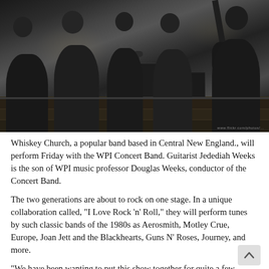[Figure (photo): Black and white photograph of a band (Whiskey Church) performing or rehearsing. Multiple musicians are visible, some seated with guitars, indoor venue with wooden floors and brick walls in background.]
Whiskey Church, a popular band based in Central New England., will perform Friday with the WPI Concert Band. Guitarist Jedediah Weeks is the son of WPI music professor Douglas Weeks, conductor of the Concert Band.
The two generations are about to rock on one stage. In a unique collaboration called, "I Love Rock 'n' Roll," they will perform tunes by such classic bands of the 1980s as Aerosmith, Motley Crue, Europe, Joan Jett and the Blackhearts, Guns N' Roses, Journey, and more.
"We have been wanting to put this show together for quite a few